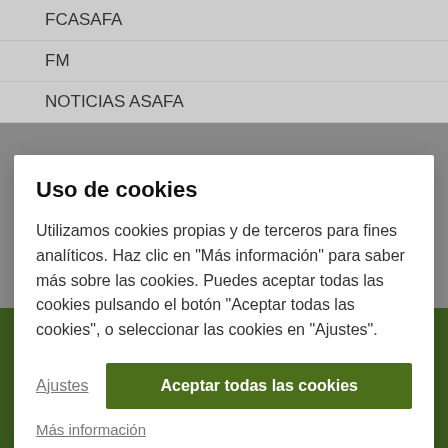FCASAFA
FM
NOTICIAS ASAFA
Uso de cookies
Utilizamos cookies propias y de terceros para fines analíticos. Haz clic en "Más información" para saber más sobre las cookies. Puedes aceptar todas las cookies pulsando el botón "Aceptar todas las cookies", o seleccionar las cookies en "Ajustes".
Ajustes
Aceptar todas las cookies
Más información
Diseñado por ESI Soluciones · Política de Cookies · Política de Privacidad · Aviso Legal